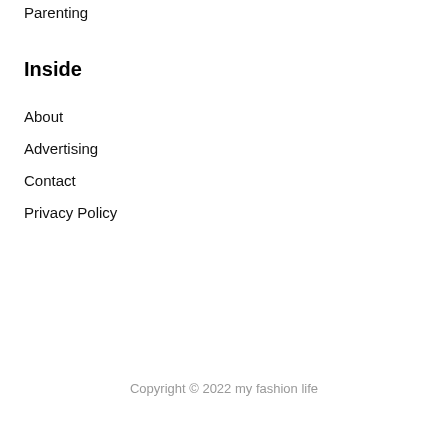Parenting
Inside
About
Advertising
Contact
Privacy Policy
Copyright © 2022 my fashion life